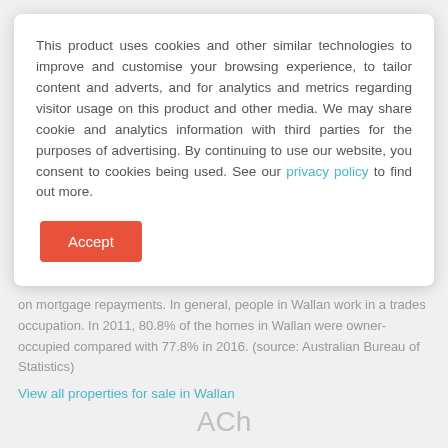This product uses cookies and other similar technologies to improve and customise your browsing experience, to tailor content and adverts, and for analytics and metrics regarding visitor usage on this product and other media. We may share cookie and analytics information with third parties for the purposes of advertising. By continuing to use our website, you consent to cookies being used. See our privacy policy to find out more.
Accept
on mortgage repayments. In general, people in Wallan work in a trades occupation. In 2011, 80.8% of the homes in Wallan were owner-occupied compared with 77.8% in 2016. (source: Australian Bureau of Statistics)
View all properties for sale in Wallan